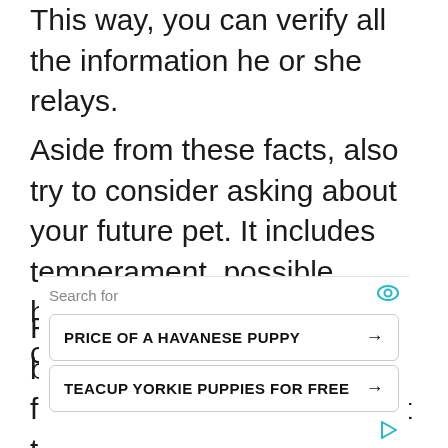This way, you can verify all the information he or she relays.
Aside from these facts, also try to consider asking about your future pet. It includes temperament, possible health issues, and even certain attitudes.
Remember that a good breeder won't hide anything from you, so it would be best to ask all the things you need and
[Figure (other): Advertisement widget with 'Search for' label and two search buttons: 'PRICE OF A HAVANESE PUPPY' and 'TEACUP YORKIE PUPPIES FOR FREE']